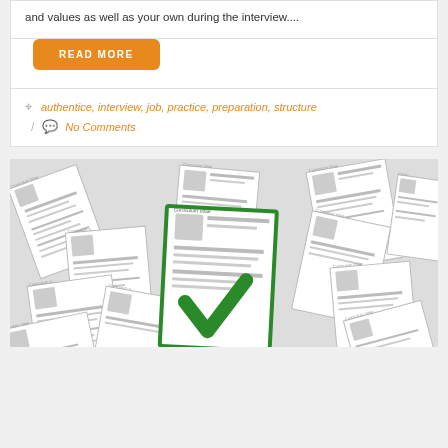and values as well as your own during the interview....
READ MORE
authentice, interview, job, practice, preparation, structure
No Comments
[Figure (illustration): A pile of curriculum vitae documents scattered randomly, with one central CV highlighted with a green border and a large green checkmark on it.]